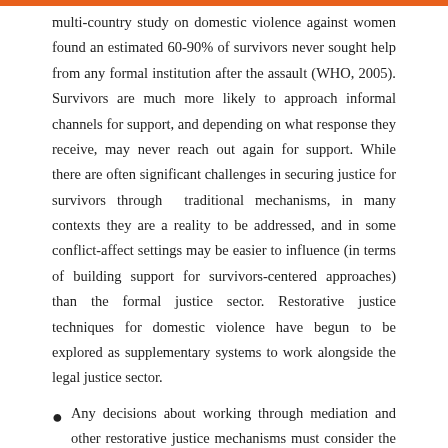multi-country study on domestic violence against women found an estimated 60-90% of survivors never sought help from any formal institution after the assault (WHO, 2005). Survivors are much more likely to approach informal channels for support, and depending on what response they receive, may never reach out again for support. While there are often significant challenges in securing justice for survivors through traditional mechanisms, in many contexts they are a reality to be addressed, and in some conflict-affect settings may be easier to influence (in terms of building support for survivors-centered approaches) than the formal justice sector. Restorative justice techniques for domestic violence have begun to be explored as supplementary systems to work alongside the legal justice sector.
Any decisions about working through mediation and other restorative justice mechanisms must consider the frequent